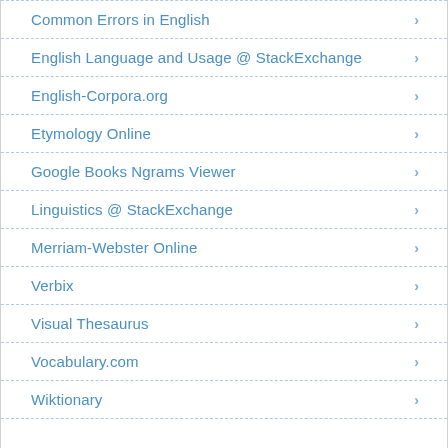Common Errors in English
English Language and Usage @ StackExchange
English-Corpora.org
Etymology Online
Google Books Ngrams Viewer
Linguistics @ StackExchange
Merriam-Webster Online
Verbix
Visual Thesaurus
Vocabulary.com
Wiktionary